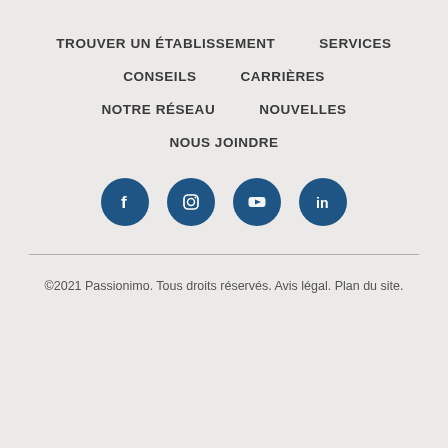TROUVER UN ÉTABLISSEMENT
SERVICES
CONSEILS
CARRIÈRES
NOTRE RÉSEAU
NOUVELLES
NOUS JOINDRE
[Figure (infographic): Four social media icons (Facebook, Instagram, YouTube, LinkedIn) as white icons on dark blue circles.]
©2021 Passionimo. Tous droits réservés. Avis légal. Plan du site.